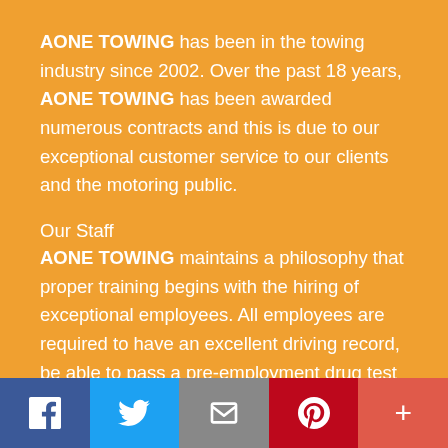AONE TOWING has been in the towing industry since 2002. Over the past 18 years, AONE TOWING has been awarded numerous contracts and this is due to our exceptional customer service to our clients and the motoring public.
Our Staff
AONE TOWING maintains a philosophy that proper training begins with the hiring of exceptional employees. All employees are required to have an excellent driving record, be able to pass a pre-employment drug test and must not have a criminal record. All AONE TOWING employees are required to submit fingerprints to the C.H.P. for a criminal background check through local, and federal databases
f  Twitter  Email  Pinterest  +